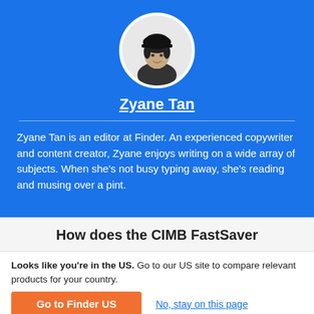[Figure (photo): Circular avatar photo of Zyane Tan, a woman wearing a black cap, black and white photo]
Zyane Tan
Zyane Tan is an editor at Finder. An experienced copywriter and content creator, Zyane enjoys writing on a wide array of subjects. When she's not busy typing away, she's reading and musing over a pint.
How does the CIMB FastSaver
Looks like you're in the US. Go to our US site to compare relevant products for your country.